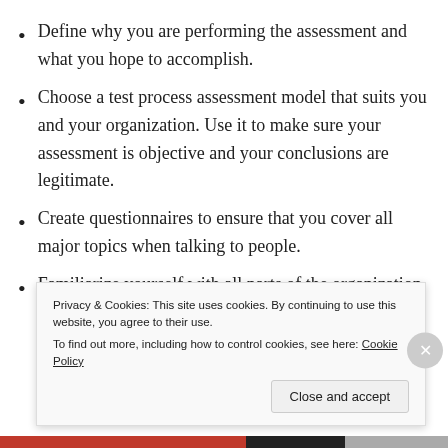Define why you are performing the assessment and what you hope to accomplish.
Choose a test process assessment model that suits you and your organization. Use it to make sure your assessment is objective and your conclusions are legitimate.
Create questionnaires to ensure that you cover all major topics when talking to people.
Familiarize yourself with all parts of the organization and how it actually tests software. Look for discrepancies between process
Privacy & Cookies: This site uses cookies. By continuing to use this website, you agree to their use. To find out more, including how to control cookies, see here: Cookie Policy
Close and accept